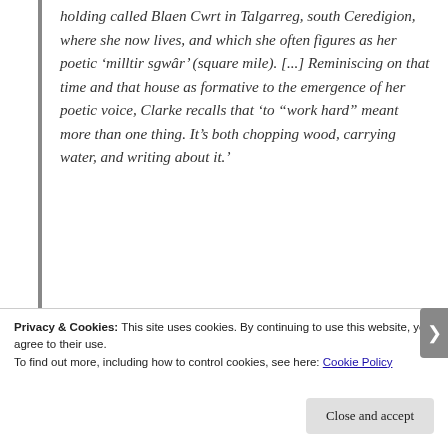holding called Blaen Cwrt in Talgarreg, south Ceredigion, where she now lives, and which she often figures as her poetic ‘milltir sgwâr’ (square mile). [...] Reminiscing on that time and that house as formative to the emergence of her poetic voice, Clarke recalls that ‘to “work hard” meant more than one thing. It’s both chopping wood, carrying water, and writing about it.’
Privacy & Cookies: This site uses cookies. By continuing to use this website, you agree to their use.
To find out more, including how to control cookies, see here: Cookie Policy